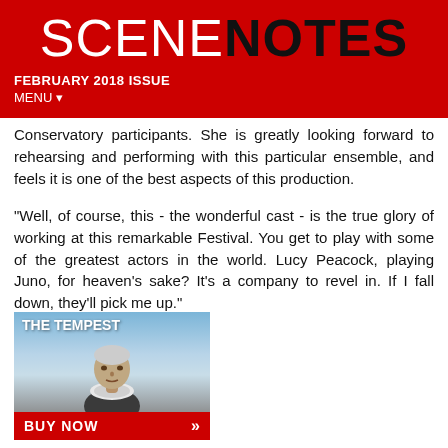SCENENOTES
FEBRUARY 2018 ISSUE
MENU ▾
Conservatory participants. She is greatly looking forward to rehearsing and performing with this particular ensemble, and feels it is one of the best aspects of this production.
"Well, of course, this - the wonderful cast - is the true glory of working at this remarkable Festival. You get to play with some of the greatest actors in the world. Lucy Peacock, playing Juno, for heaven's sake? It's a company to revel in. If I fall down, they'll pick me up."
[Figure (photo): Theatrical poster for The Tempest showing an older actor in period costume with ruffled collar against a sky background, with a red BUY NOW banner at the bottom.]